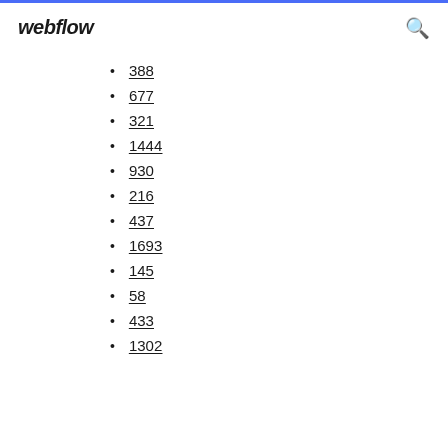webflow
388
677
321
1444
930
216
437
1693
145
58
433
1302